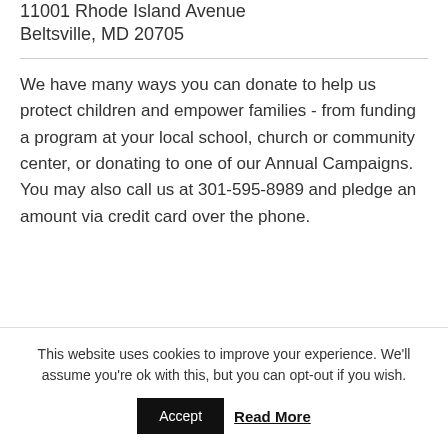11001 Rhode Island Avenue
Beltsville, MD 20705
We have many ways you can donate to help us protect children and empower families - from funding a program at your local school, church or community center, or donating to one of our Annual Campaigns. You may also call us at 301-595-8989 and pledge an amount via credit card over the phone.
DONATE TODAY TO HELP GKCEN PROTECT
This website uses cookies to improve your experience. We'll assume you're ok with this, but you can opt-out if you wish.
Accept
Read More